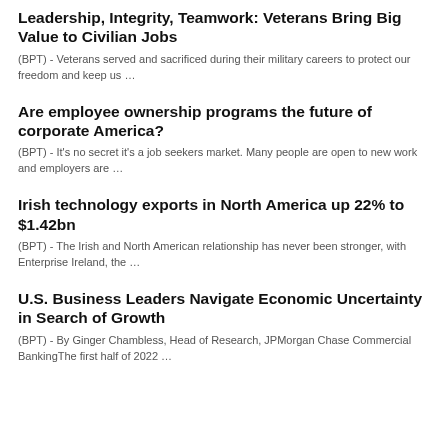Leadership, Integrity, Teamwork: Veterans Bring Big Value to Civilian Jobs
(BPT) - Veterans served and sacrificed during their military careers to protect our freedom and keep us …
Are employee ownership programs the future of corporate America?
(BPT) - It's no secret it's a job seekers market. Many people are open to new work and employers are …
Irish technology exports in North America up 22% to $1.42bn
(BPT) - The Irish and North American relationship has never been stronger, with Enterprise Ireland, the …
U.S. Business Leaders Navigate Economic Uncertainty in Search of Growth
(BPT) - By Ginger Chambless, Head of Research, JPMorgan Chase Commercial BankingThe first half of 2022 …